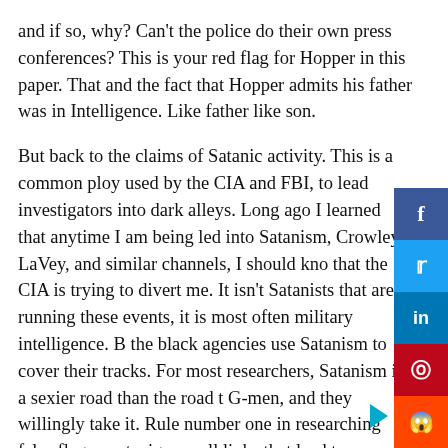and if so, why? Can't the police do their own press conferences? This is your red flag for Hopper in this paper. That and the fact that Hopper admits his father was in Intelligence. Like father like son.
But back to the claims of Satanic activity. This is a common ploy used by the CIA and FBI, to lead investigators into dark alleys. Long ago I learned that anytime I am being led into Satanism, Crowley, LaVey, and similar channels, I should know that the CIA is trying to divert me. It isn't Satanists that are running these events, it is most often military intelligence. But the black agencies use Satanism to cover their tracks. For most researchers, Satanism is a sexier road than the road to G-men, and they willingly take it. Rule number one in researching false flag events: ignore all links that lead to Satanism. Those are sucker links, put there on purpose by the CIA writers. As one example, let us dispense with the "Satanic Process Church without further ado. The only thing you need to know about the Process Church is that in 1966 the leaders of the cult, the DeGrimstons, secured a large property on the